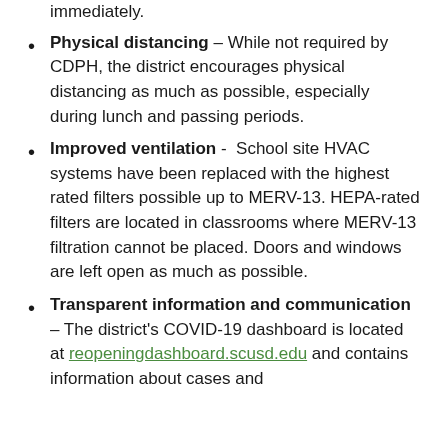immediately.
Physical distancing – While not required by CDPH, the district encourages physical distancing as much as possible, especially during lunch and passing periods.
Improved ventilation - School site HVAC systems have been replaced with the highest rated filters possible up to MERV-13. HEPA-rated filters are located in classrooms where MERV-13 filtration cannot be placed. Doors and windows are left open as much as possible.
Transparent information and communication – The district's COVID-19 dashboard is located at reopeningdashboard.scusd.edu and contains information about cases and